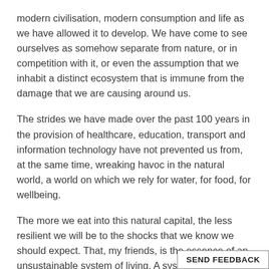modern civilisation, modern consumption and life as we have allowed it to develop. We have come to see ourselves as somehow separate from nature, or in competition with it, or even the assumption that we inhabit a distinct ecosystem that is immune from the damage that we are causing around us.
The strides we have made over the past 100 years in the provision of healthcare, education, transport and information technology have not prevented us from, at the same time, wreaking havoc in the natural world, a world on which we rely for water, for food, for wellbeing.
The more we eat into this natural capital, the less resilient we will be to the shocks that we know we should expect. That, my friends, is the essence of an unsustainable system of living. A system that, for all our sakes, must change.
At a broad level, I observe that our society and economy do not seem to comprehend the extent to which we re
SEND FEEDBACK